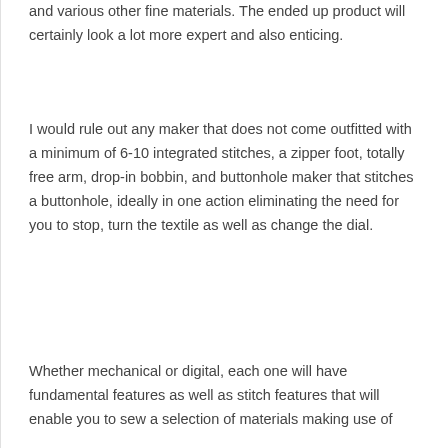and various other fine materials. The ended up product will certainly look a lot more expert and also enticing.
I would rule out any maker that does not come outfitted with a minimum of 6-10 integrated stitches, a zipper foot, totally free arm, drop-in bobbin, and buttonhole maker that stitches a buttonhole, ideally in one action eliminating the need for you to stop, turn the textile as well as change the dial.
Whether mechanical or digital, each one will have fundamental features as well as stitch features that will enable you to sew a selection of materials making use of